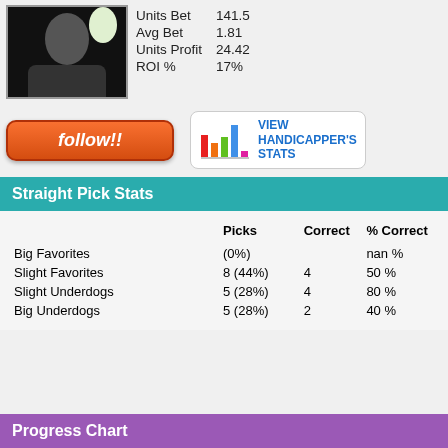[Figure (photo): Profile photo of a person in dark clothing against white background]
| Stat | Value |
| --- | --- |
| Units Bet | 141.5 |
| Avg Bet | 1.81 |
| Units Profit | 24.42 |
| ROI % | 17% |
[Figure (other): Orange 'follow!!' button]
[Figure (bar-chart): Mini bar chart icon with red, orange, green, blue, pink bars]
Straight Pick Stats
|  | Picks | Correct | % Correct |
| --- | --- | --- | --- |
| Big Favorites | (0%) |  | nan % |
| Slight Favorites | 8 (44%) | 4 | 50 % |
| Slight Underdogs | 5 (28%) | 4 | 80 % |
| Big Underdogs | 5 (28%) | 2 | 40 % |
Progress Chart